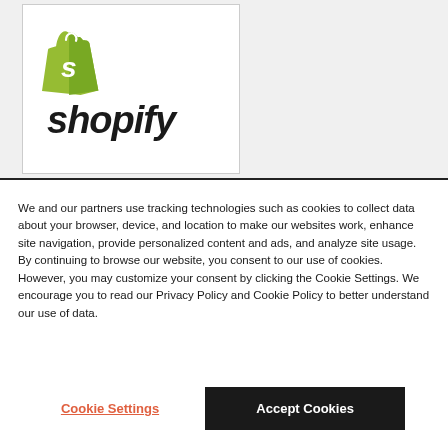[Figure (logo): Shopify logo — green shopping bag icon with white 'S' and the word 'shopify' in bold italic black text]
We and our partners use tracking technologies such as cookies to collect data about your browser, device, and location to make our websites work, enhance site navigation, provide personalized content and ads, and analyze site usage. By continuing to browse our website, you consent to our use of cookies. However, you may customize your consent by clicking the Cookie Settings. We encourage you to read our Privacy Policy and Cookie Policy to better understand our use of data.
Cookie Settings
Accept Cookies